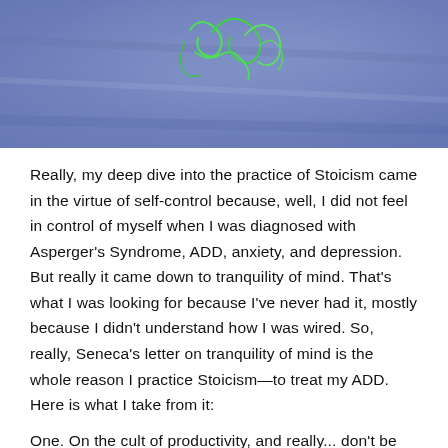[Figure (photo): A blurry blue-purple textured background with faint green cursive/script markings or drawing visible near the top center.]
Really, my deep dive into the practice of Stoicism came in the virtue of self-control because, well, I did not feel in control of myself when I was diagnosed with Asperger's Syndrome, ADD, anxiety, and depression. But really it came down to tranquility of mind. That's what I was looking for because I've never had it, mostly because I didn't understand how I was wired. So, really, Seneca's letter on tranquility of mind is the whole reason I practice Stoicism—to treat my ADD. Here is what I take from it:
One. On the cult of productivity, and really... don't be